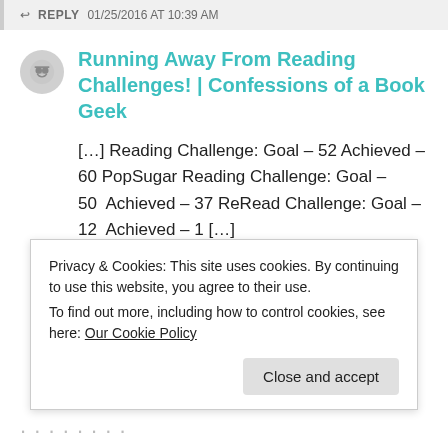REPLY  01/25/2016 AT 10:39 AM
Running Away From Reading Challenges! | Confessions of a Book Geek
[…] Reading Challenge: Goal – 52 Achieved – 60 PopSugar Reading Challenge: Goal – 50   Achieved – 37 ReRead Challenge: Goal – 12   Achieved – 1 […]
Like
Privacy & Cookies: This site uses cookies. By continuing to use this website, you agree to their use.
To find out more, including how to control cookies, see here: Our Cookie Policy
Close and accept